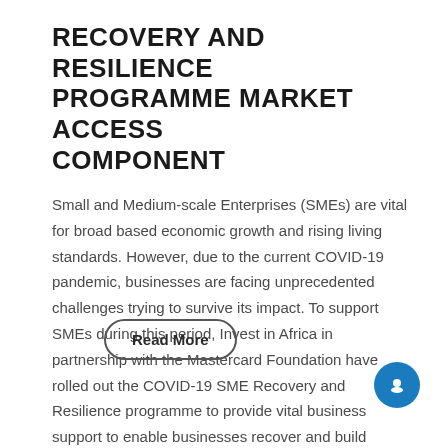RECOVERY AND RESILIENCE PROGRAMME MARKET ACCESS COMPONENT
Small and Medium-scale Enterprises (SMEs) are vital for broad based economic growth and rising living standards. However, due to the current COVID-19 pandemic, businesses are facing unprecedented challenges trying to survive its impact. To support SMEs during this period, Invest in Africa in partnership with the Mastercard Foundation have rolled out the COVID-19 SME Recovery and Resilience programme to provide vital business support to enable businesses recover and build resilience to future shocks.
Read More